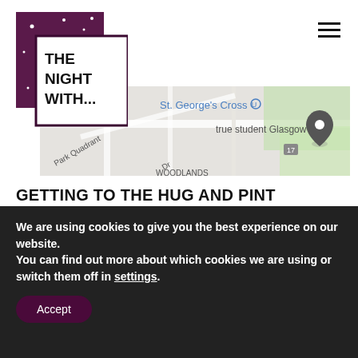[Figure (logo): The Night With... logo — dark purple/maroon background with white dots, white box with bold black text reading THE NIGHT WITH...]
[Figure (map): Google Maps partial screenshot showing St. George's Cross area in Glasgow, with 'true student Glasgow' location marker and Park Quadrant, Woodlands labels visible]
GETTING TO THE HUG AND PINT
[Figure (logo): The Hug and Pint venue logo — orange/red text reading 'THE Hug AND PINT' in stylized font]
We are using cookies to give you the best experience on our website.
You can find out more about which cookies we are using or switch them off in settings.
Accept